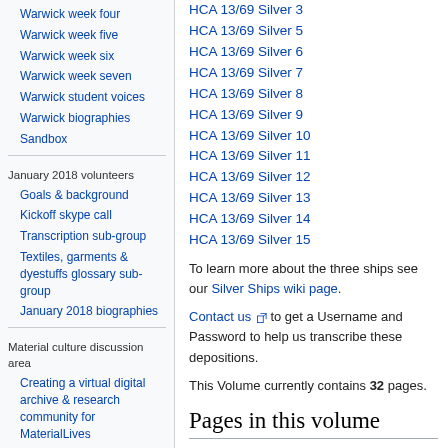Warwick week four
Warwick week five
Warwick week six
Warwick week seven
Warwick student voices
Warwick biographies
Sandbox
January 2018 volunteers
Goals & background
Kickoff skype call
Transcription sub-group
Textiles, garments & dyestuffs glossary sub-group
January 2018 biographies
Material culture discussion area
Creating a virtual digital archive & research community for MaterialLives
Textiles, garments, & dyestuffs...
HCA 13/69 Silver 3
HCA 13/69 Silver 5
HCA 13/69 Silver 6
HCA 13/69 Silver 7
HCA 13/69 Silver 8
HCA 13/69 Silver 9
HCA 13/69 Silver 10
HCA 13/69 Silver 11
HCA 13/69 Silver 12
HCA 13/69 Silver 13
HCA 13/69 Silver 14
HCA 13/69 Silver 15
To learn more about the three ships see our Silver Ships wiki page.
Contact us to get a Username and Password to help us transcribe these depositions.
This Volume currently contains 32 pages.
Pages in this volume